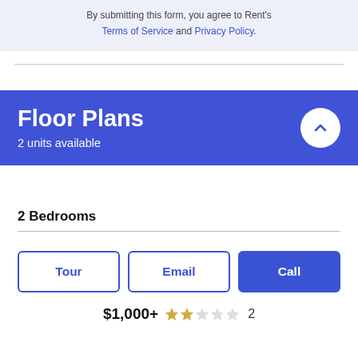By submitting this form, you agree to Rent's Terms of Service and Privacy Policy.
Floor Plans
2 units available
2 Bedrooms
Tour | Email | Call
$1,000+  ★★☆☆☆ 2